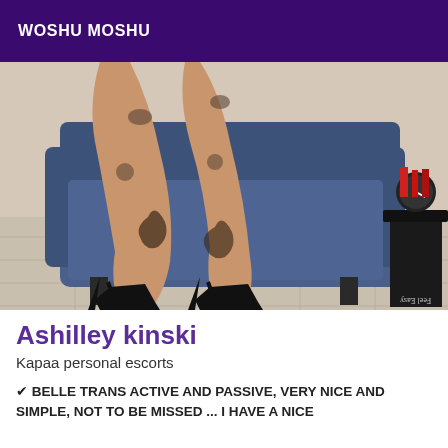WOSHU MOSHU
[Figure (photo): Photo of person with tattoos on legs, wearing black high heels, seated on a blue sofa. A side table with a clock and red items is visible in the background. Watermark reads 'Feel Easy' upside down at bottom right.]
Ashilley kinski
Kapaa personal escorts
✔ BELLE TRANS ACTIVE AND PASSIVE, VERY NICE AND SIMPLE, NOT TO BE MISSED ... I HAVE A NICE